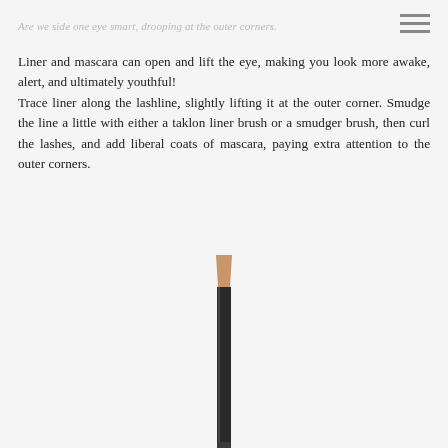Are we side one eye smart, drooping at the outer corners.
Liner and mascara can open and lift the eye, making you look more awake, alert, and ultimately youthful! Trace liner along the lashline, slightly lifting it at the outer corner. Smudge the line a little with either a taklon liner brush or a smudger brush, then curl the lashes, and add liberal coats of mascara, paying extra attention to the outer corners.
[Figure (photo): A black eye liner pencil with a sharpened tip and natural wood showing at the tip, positioned vertically in the center of the image.]